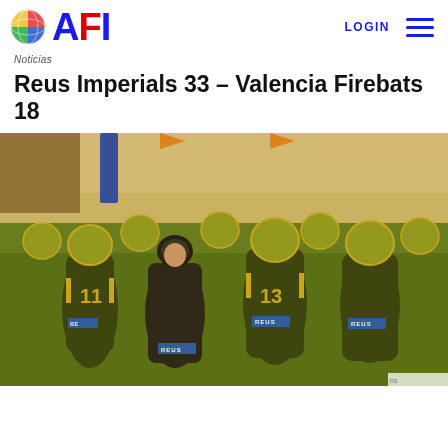AFI
Noticias
Reus Imperials 33 – Valencia Firebats 18
[Figure (photo): Reus Imperials American football team players huddled together on the field, wearing dark green and gold uniforms with numbers 11 and 13 visible, with a coach in the center wearing black.]